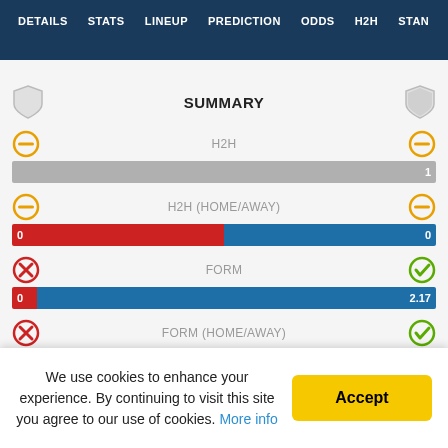DETAILS | STATS | LINEUP | PREDICTION | ODDS | H2H | STAN
SUMMARY
H2H
H2H (HOME/AWAY) — 0 | 0
FORM — 0 | 2.17
FORM (HOME/AWAY) — 0.33 | 1.5
We use cookies to enhance your experience. By continuing to visit this site you agree to our use of cookies. More info